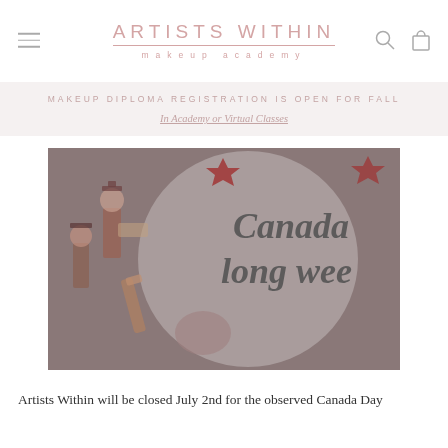ARTISTS WITHIN makeup academy
MAKEUP DIPLOMA REGISTRATION IS OPEN FOR FALL
In Academy or Virtual Classes
[Figure (photo): Photo showing Canada Day long weekend promotional graphic with illustrated characters and text reading 'Canada Long wee[kend]']
Artists Within will be closed July 2nd for the observed Canada Day